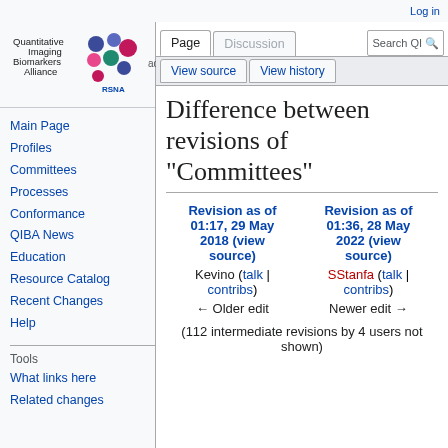Log in
[Figure (logo): Quantitative Imaging Biomarkers Alliance logo with RSNA colorful dots]
Main Page
Profiles
Committees
Processes
Conformance
QIBA News
Education
Resource Catalog
Recent Changes
Help
Tools
What links here
Related changes
Difference between revisions of "Committees"
| Revision as of 01:17, 29 May 2018 (view source) | Revision as of 01:36, 28 May 2022 (view source) |
| --- | --- |
| Kevino (talk | contribs) | SStanfa (talk | contribs) |
| ← Older edit | Newer edit → |
(112 intermediate revisions by 4 users not shown)